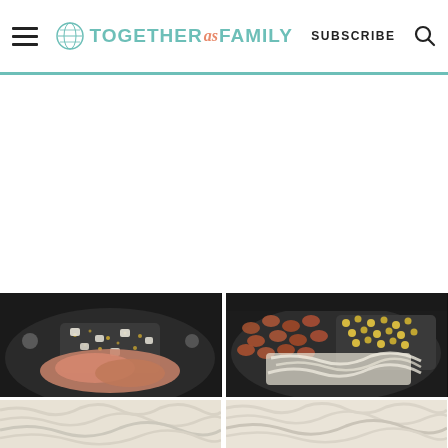TOGETHER as FAMILY — SUBSCRIBE
[Figure (photo): Top-left: dark skillet/pan with diced onions, spices, and ground meat (raw) being cooked]
[Figure (photo): Top-right: dark skillet/pan with beans, corn, and shredded cheese on top]
[Figure (photo): Bottom-left: close-up of white rice or shredded cheese]
[Figure (photo): Bottom-right: close-up of white rice or shredded cheese]